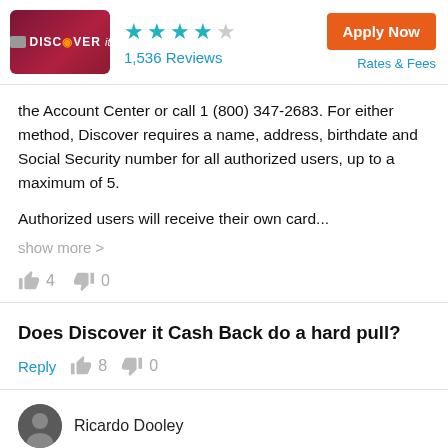[Figure (other): Discover it credit card image with dark red/maroon background, chip and DISCOVER branding]
★★★★☆ 1,536 Reviews
Apply Now
Rates & Fees
the Account Center or call 1 (800) 347-2683. For either method, Discover requires a name, address, birthdate and Social Security number for all authorized users, up to a maximum of 5.
Authorized users will receive their own card...
show more >
👍 4   👎 0
Does Discover it Cash Back do a hard pull?
Reply  👍 8   👎 0
Ricardo Dooley